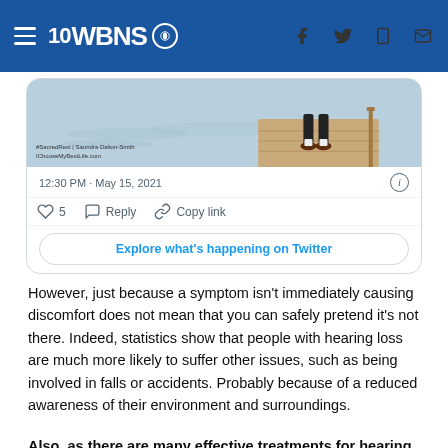10 WBNS CBS
[Figure (screenshot): Twitter/X embedded tweet card showing an image of a person standing on a wooden dock, with watermark '#SacredRest | Saundra Dalton-Smith IChooseMyBestLife.com', timestamp '12:30 PM · May 15, 2021', like count 5, Reply, Copy link actions, and 'Explore what's happening on Twitter' button.]
However, just because a symptom isn't immediately causing discomfort does not mean that you can safely pretend it's not there. Indeed, statistics show that people with hearing loss are much more likely to suffer other issues, such as being involved in falls or accidents. Probably because of a reduced awareness of their environment and surroundings.
Also, as there are many effective treatments for hearing